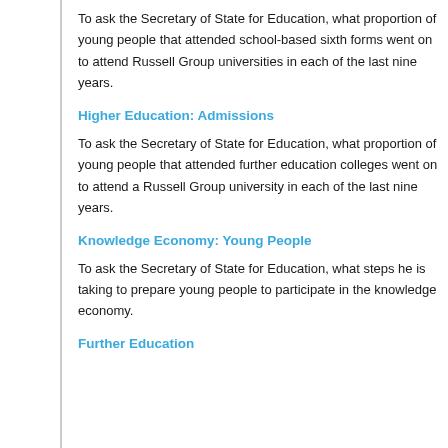To ask the Secretary of State for Education, what proportion of young people that attended school-based sixth forms went on to attend Russell Group universities in each of the last nine years.
Higher Education: Admissions
To ask the Secretary of State for Education, what proportion of young people that attended further education colleges went on to attend a Russell Group university in each of the last nine years.
Knowledge Economy: Young People
To ask the Secretary of State for Education, what steps he is taking to prepare young people to participate in the knowledge economy.
Further Education